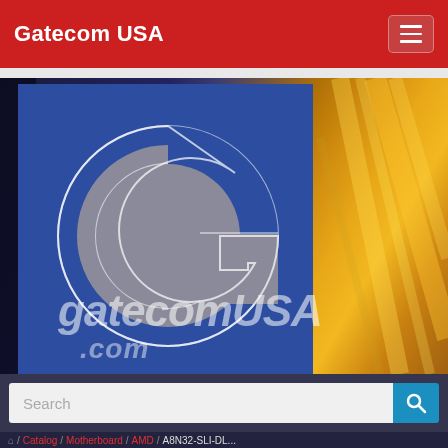Gatecom USA
[Figure (logo): Gatecom USA logo: blue semicircle background with large grey circular 'G' lettermark and 'gatecomUSA.com' text below, overlaid on a blurred amber/golden background photo]
Search
/ Catalog / Motherboard / AMD / A8N32-SLI-DL...